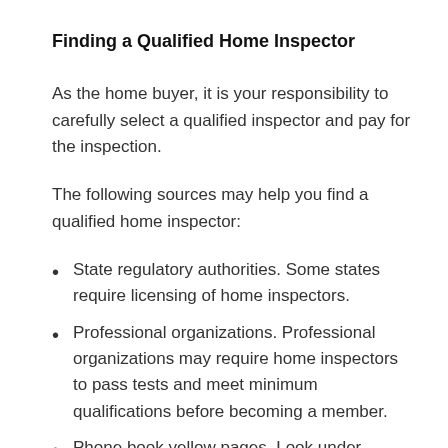Finding a Qualified Home Inspector
As the home buyer, it is your responsibility to carefully select a qualified inspector and pay for the inspection.
The following sources may help you find a qualified home inspector:
State regulatory authorities. Some states require licensing of home inspectors.
Professional organizations. Professional organizations may require home inspectors to pass tests and meet minimum qualifications before becoming a member.
Phone book yellow pages. Look under